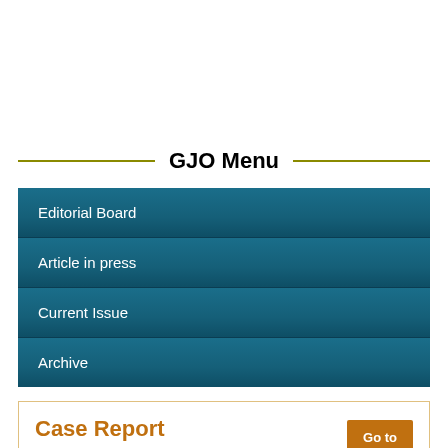GJO Menu
Editorial Board
Article in press
Current Issue
Archive
Case Report
Go to